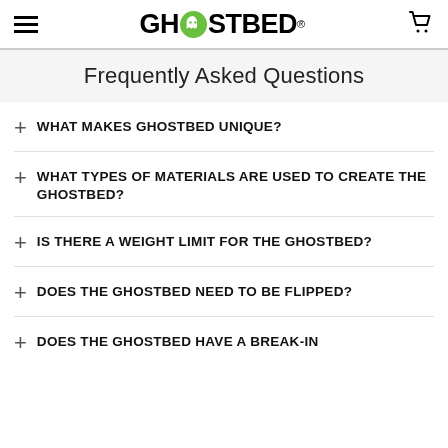GhostBed (logo)
Frequently Asked Questions
WHAT MAKES GHOSTBED UNIQUE?
WHAT TYPES OF MATERIALS ARE USED TO CREATE THE GHOSTBED?
IS THERE A WEIGHT LIMIT FOR THE GHOSTBED?
DOES THE GHOSTBED NEED TO BE FLIPPED?
DOES THE GHOSTBED HAVE A BREAK-IN